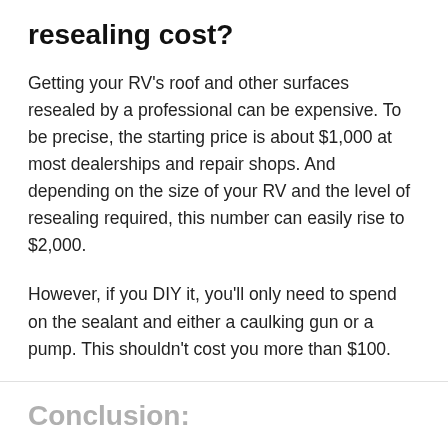resealing cost?
Getting your RV’s roof and other surfaces resealed by a professional can be expensive. To be precise, the starting price is about $1,000 at most dealerships and repair shops. And depending on the size of your RV and the level of resealing required, this number can easily rise to $2,000.
However, if you DIY it, you’ll only need to spend on the sealant and either a caulking gun or a pump. This shouldn’t cost you more than $100.
Conclusion: